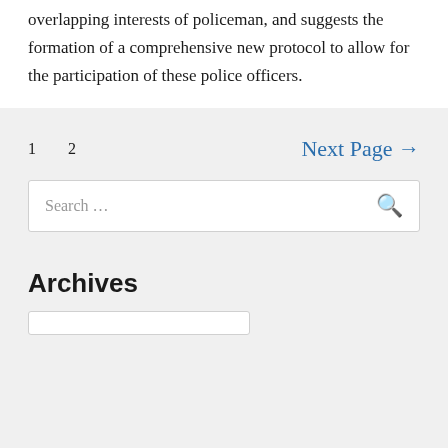overlapping interests of policeman, and suggests the formation of a comprehensive new protocol to allow for the participation of these police officers.
1  2  Next Page →
Search ...
Archives